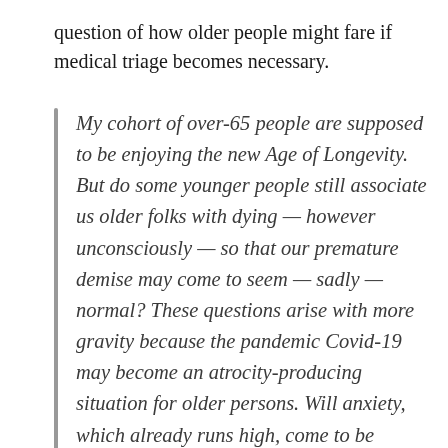question of how older people might fare if medical triage becomes necessary.
My cohort of over-65 people are supposed to be enjoying the new Age of Longevity. But do some younger people still associate us older folks with dying — however unconsciously — so that our premature demise may come to seem — sadly — normal? These questions arise with more gravity because the pandemic Covid-19 may become an atrocity-producing situation for older persons. Will anxiety, which already runs high, come to be focused on the figure of an old person